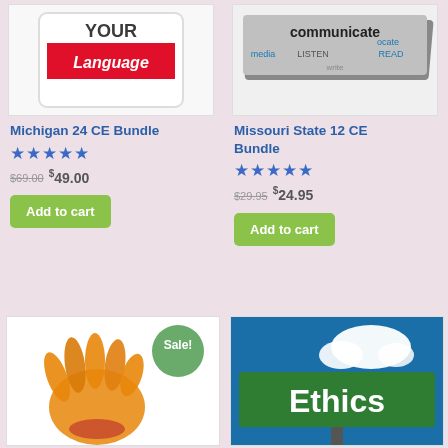[Figure (photo): Sign reading 'YOUR Language' with red and white colors]
Michigan 24 CE Bundle
★★★★★
$69.00 $49.00
Add to cart
[Figure (photo): 3D text sign showing 'communicate' with related words]
Missouri State 12 CE Bundle
★★★★★
$29.95 $24.95
Add to cart
[Figure (photo): Orange/yellow handprint on white background with Sale! badge]
[Figure (photo): Green Ethics road sign against blue sky with clouds]